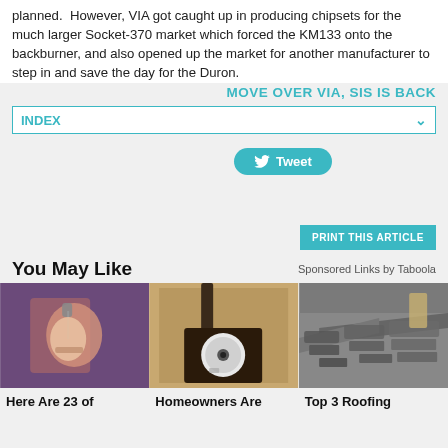planned.  However, VIA got caught up in producing chipsets for the much larger Socket-370 market which forced the KM133 onto the backburner, and also opened up the market for another manufacturer to step in and save the day for the Duron.
MOVE OVER VIA, SIS IS BACK
INDEX
[Figure (other): Tweet button with Twitter bird icon]
PRINT THIS ARTICLE
You May Like
Sponsored Links by Taboola
[Figure (photo): Hand holding keys with chain, purple background]
[Figure (photo): Security camera mounted outside on a wall]
[Figure (photo): Damaged roof shingles]
Here Are 23 of
Homeowners Are
Top 3 Roofing